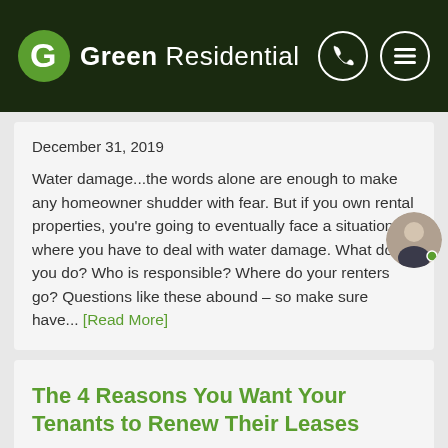Green Residential
December 31, 2019
Water damage...the words alone are enough to make any homeowner shudder with fear. But if you own rental properties, you're going to eventually face a situation where you have to deal with water damage. What do you do? Who is responsible? Where do your renters go? Questions like these abound – so make sure have… [Read More]
The 4 Reasons You Want Your Tenants to Renew Their Leases